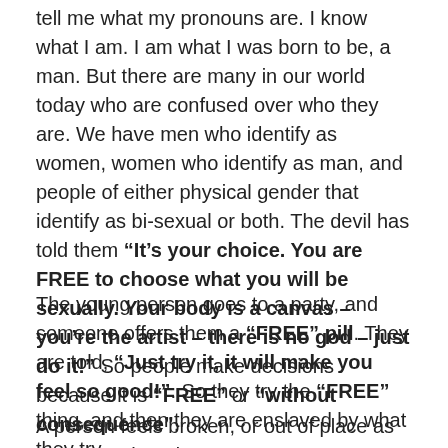tell me what my pronouns are. I know what I am. I am what I was born to be, a man. But there are many in our world today who are confused over who they are. We have men who identify as women, women who identify as man, and people of either physical gender that identify as bi-sexual or both. The devil has told them “It’s your choice. You are FREE to choose what you will be sexually. Your body is a canvas – you’re the artist – there is no god – just do it!” So people make decisions because it is “FREE” or “without consequence”.
The young person goes to a party, and someone offers them a “FREE” pill. They are told, “Just try it, it will make you feel so good!”. So they try the “FREE” thing, and then they are enslaved by what they try.
A person feels broken, or out of place as they are. They do